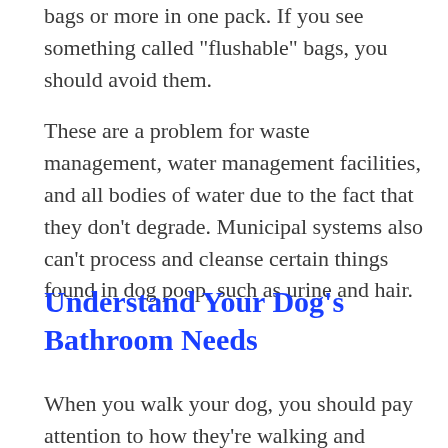bags or more in one pack. If you see something called “flushable” bags, you should avoid them.
These are a problem for waste management, water management facilities, and all bodies of water due to the fact that they don’t degrade. Municipal systems also can’t process and cleanse certain things found in dog poop, such as urine and hair.
Understand Your Dog’s Bathroom Needs
When you walk your dog, you should pay attention to how they’re walking and sniffing grass. You don’t want